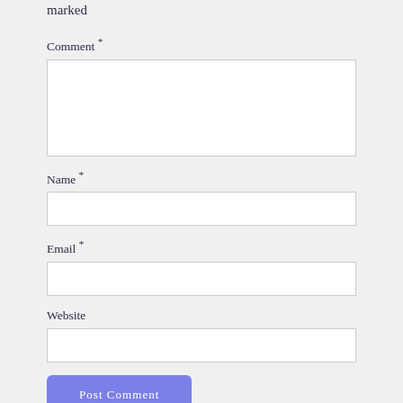marked
Comment *
Name *
Email *
Website
Post Comment